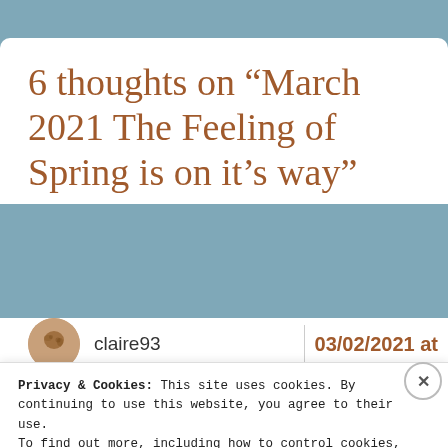6 thoughts on “March 2021 The Feeling of Spring is on it’s way”
claire93
03/02/2021 at
Privacy & Cookies: This site uses cookies. By continuing to use this website, you agree to their use.
To find out more, including how to control cookies, see here: Cookie Policy.